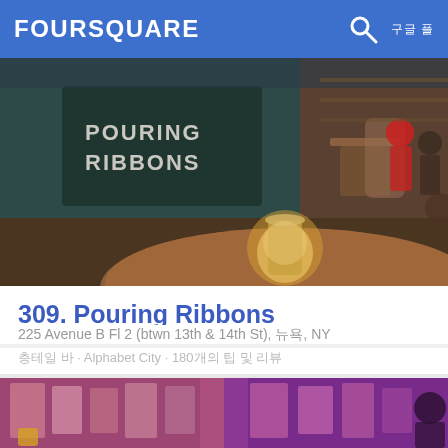FOURSQUARE
[Figure (photo): Interior photo of Pouring Ribbons bar showing dark teal menu board with white text 'POURING RIBBONS', round wooden tables, chairs, a glowing cocktail glass on the table, and bar area in background with a person in red.]
309. Pouring Ribbons
225 Avenue B Fl 2 (btwn 13th & 14th St), 뉴욕, NY
칵테일 바 · Alphabet City · 180개의 팁 및 리뷰
[Figure (photo): Interior photo of a dimly lit bar with pink/purple lighting, walls covered in posters and flyers, dark atmosphere.]